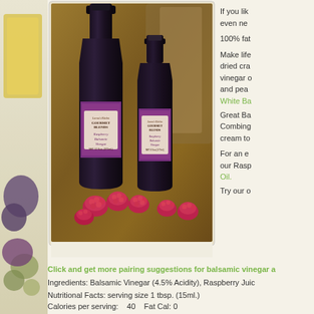[Figure (photo): Left blurred strip showing olive oil, olives, and produce on a light background]
[Figure (photo): Two bottles of Gourmet Blends Raspberry Balsamic Vinegar on a wooden cutting board surrounded by fresh raspberries]
If you like even ne
100% fat
Make life dried cra vinegar a and pea
White Ba
Great Ba Combing cream to
For an e our Rasp Oil.
Try our o
Click and get more pairing suggestions for balsamic vinegar a
Ingredients: Balsamic Vinegar (4.5% Acidity), Raspberry Juic
Nutritional Facts: serving size 1 tbsp. (15ml.) Calories per serving:    40    Fat Cal: 0